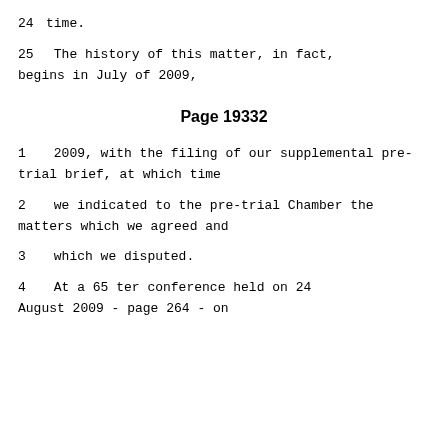24    time.
25          The history of this matter, in fact, begins in July of 2009,
Page 19332
1      2009, with the filing of our supplemental pre-trial brief, at which time
2      we indicated to the pre-trial Chamber the matters which we agreed and
3      which we disputed.
4           At a 65 ter conference held on 24 August 2009 - page 264 - on